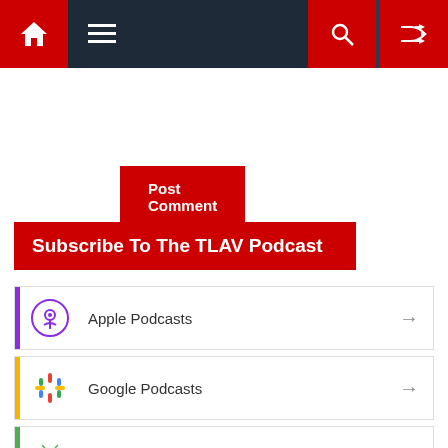Navigation bar with home, menu, search, and shuffle icons
Post Comment
Subscribe To The TLAV Podcast
Apple Podcasts
Google Podcasts
Android
by Email
RSS